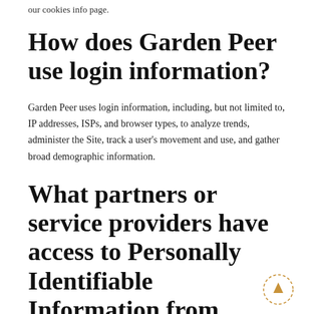our cookies info page.
How does Garden Peer use login information?
Garden Peer uses login information, including, but not limited to, IP addresses, ISPs, and browser types, to analyze trends, administer the Site, track a user's movement and use, and gather broad demographic information.
What partners or service providers have access to Personally Identifiable Information from Visitors and/or Authorized